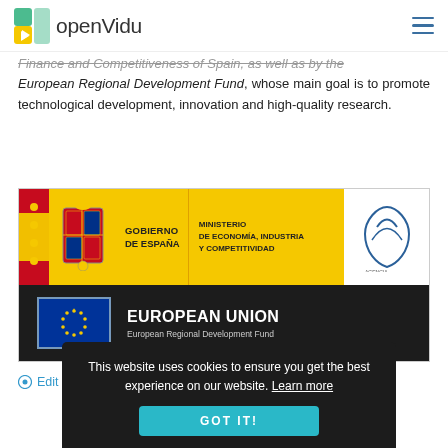openVidu
Finance and Competitiveness of Spain, as well as by the European Regional Development Fund, whose main goal is to promote technological development, innovation and high-quality research.
[Figure (logo): Spanish Government and European Regional Development Fund logos banner. Top row: Spanish flag stripe, coat of arms, GOBIERNO DE ESPAÑA, MINISTERIO DE ECONOMÍA, INDUSTRIA Y COMPETITIVIDAD text on yellow background, AEI logo on white. Bottom row: European Union flag, EUROPEAN UNION, European Regional Development Fund on dark background.]
Edit Doc
This website uses cookies to ensure you get the best experience on our website. Learn more GOT IT!